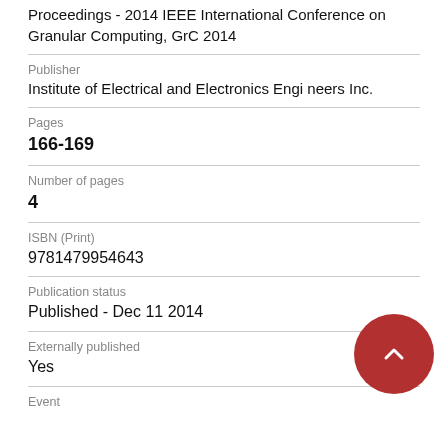Proceedings - 2014 IEEE International Conference on Granular Computing, GrC 2014
Publisher
Institute of Electrical and Electronics Engineers Inc.
Pages
166-169
Number of pages
4
ISBN (Print)
9781479954643
Publication status
Published - Dec 11 2014
Externally published
Yes
Event